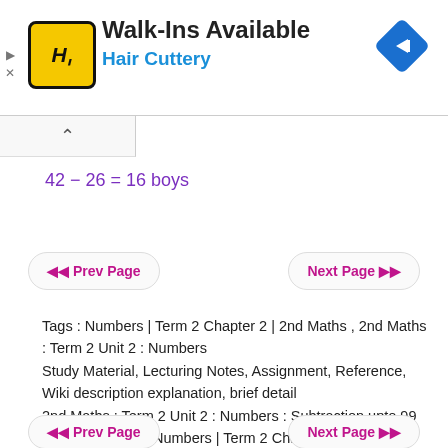[Figure (logo): Hair Cuttery advertisement banner with HC logo, Walk-Ins Available text, and navigation arrow icon]
◀◀ Prev Page
Next Page ▶▶
Tags : Numbers | Term 2 Chapter 2 | 2nd Maths , 2nd Maths : Term 2 Unit 2 : Numbers
Study Material, Lecturing Notes, Assignment, Reference, Wiki description explanation, brief detail
2nd Maths : Term 2 Unit 2 : Numbers : Subtraction upto 99 with regrouping | Numbers | Term 2 Chapter 2 | 2nd Maths
◀◀ Prev Page
Next Page ▶▶